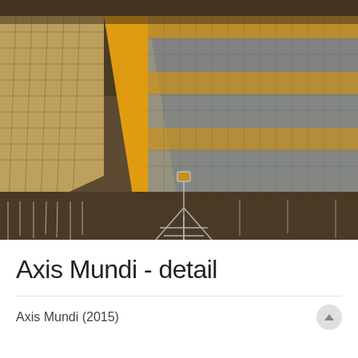[Figure (photo): Detail photograph of the artwork 'Axis Mundi' (2015): a large-scale installation featuring interwoven wire mesh panels in yellow/gold and silver/gray, suspended in a gallery space. A metal tripod support structure is visible below the mesh panels. The background is dark brown/taupe. Wire threads hang down from the bottom of the mesh.]
Axis Mundi - detail
Axis Mundi (2015)